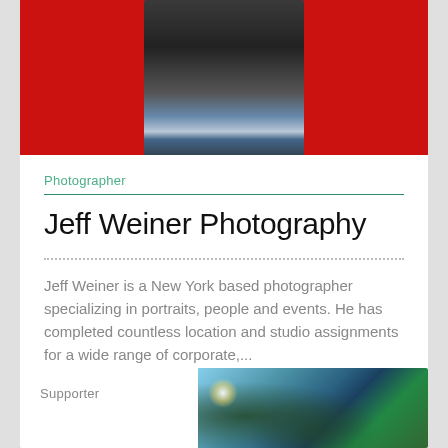[Figure (photo): Person standing against a red background, wearing a dark jacket and jeans with a belt]
Photographer
Jeff Weiner Photography
Jeff Weiner is a New York based photographer specializing in portraits, people and events. He has completed countless location and studio assignments for a wide range of corporate,...
Supporter
[Figure (photo): Outdoor photo showing trees with sunlight and a building against a blue sky]